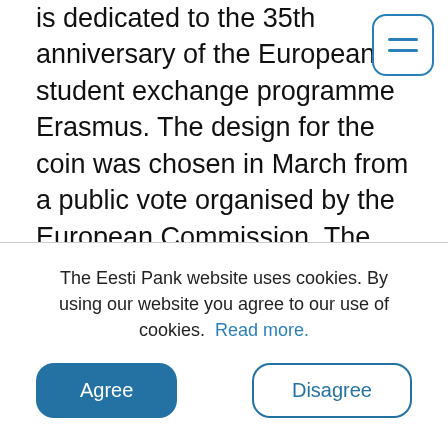is dedicated to the 35th anniversary of the European student exchange programme Erasmus. The design for the coin was chosen in March from a public vote organised by the European Commission. The winning design was by Joaquin Jimenez of the French coin minter La Monnaie de Paris. The design for the coin can be seen on the website of the European Commission [external link].
The Eesti Pank website uses cookies. By using our website you agree to our use of cookies. Read more.